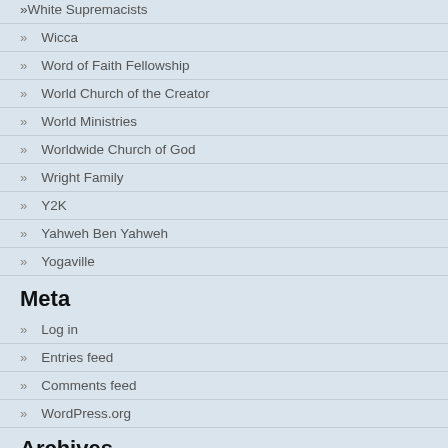White Supremacists
Wicca
Word of Faith Fellowship
World Church of the Creator
World Ministries
Worldwide Church of God
Wright Family
Y2K
Yahweh Ben Yahweh
Yogaville
Meta
Log in
Entries feed
Comments feed
WordPress.org
Archives